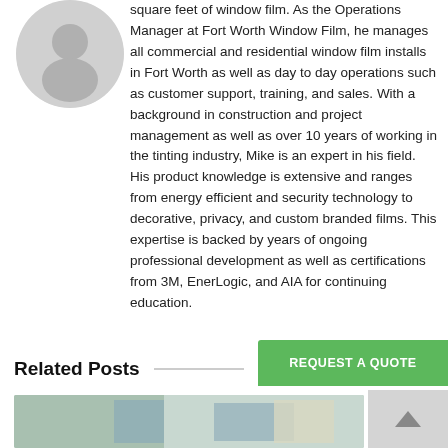square feet of window film. As the Operations Manager at Fort Worth Window Film, he manages all commercial and residential window film installs in Fort Worth as well as day to day operations such as customer support, training, and sales. With a background in construction and project management as well as over 10 years of working in the tinting industry, Mike is an expert in his field. His product knowledge is extensive and ranges from energy efficient and security technology to decorative, privacy, and custom branded films. This expertise is backed by years of ongoing professional development as well as certifications from 3M, EnerLogic, and AIA for continuing education.
Related Posts
[Figure (photo): Interior room photo showing large windows with window film applied, partial view of building interior]